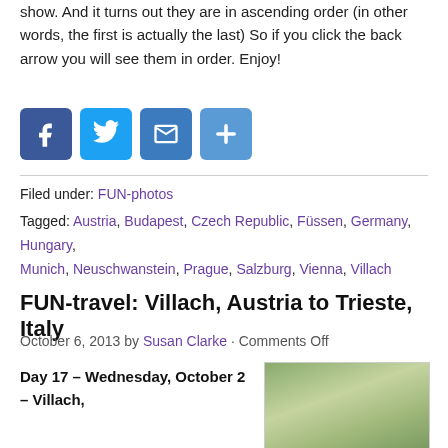show. And it turns out they are in ascending order (in other words, the first is actually the last) So if you click the back arrow you will see them in order. Enjoy!
[Figure (other): Social sharing buttons: Facebook, Twitter, Email, Share (blue icon buttons)]
Filed under: FUN-photos
Tagged: Austria, Budapest, Czech Republic, Füssen, Germany, Hungary, Munich, Neuschwanstein, Prague, Salzburg, Vienna, Villach
FUN-travel: Villach, Austria to Trieste, Italy
October 6, 2013 by Susan Clarke · Comments Off
Day 17 – Wednesday, October 2 – Villach,
[Figure (photo): Photo of two people standing under a large tree with green foliage]